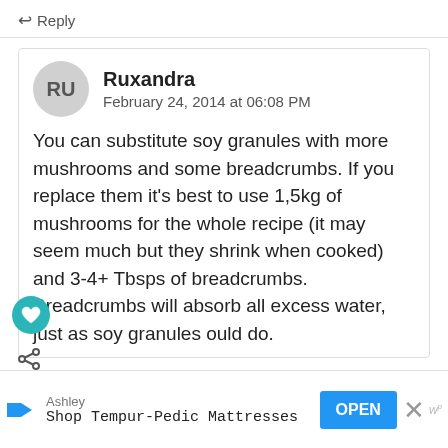↩ Reply
Ruxandra
February 24, 2014 at 06:08 PM
You can substitute soy granules with more mushrooms and some breadcrumbs. If you replace them it's best to use 1,5kg of mushrooms for the whole recipe (it may seem much but they shrink when cooked) and 3-4+ Tbsps of breadcrumbs. Breadcrumbs will absorb all excess water, just as soy granules ould do.
[Figure (screenshot): Advertisement bar: Ashley - Shop Tempur-Pedic Mattresses with OPEN button and close X]
[Figure (other): Floating teal heart/like button icon on left side]
[Figure (other): Floating share icon on left side]